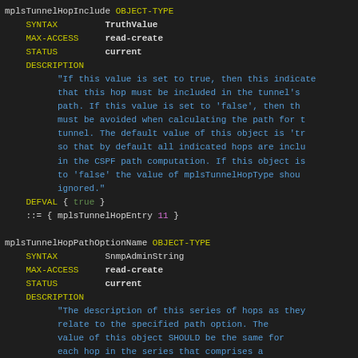mplsTunnelHopInclude OBJECT-TYPE SYNTAX TruthValue MAX-ACCESS read-create STATUS current DESCRIPTION "If this value is set to true, then this indicates that this hop must be included in the tunnel's path. If this value is set to 'false', then this must be avoided when calculating the path for the tunnel. The default value of this object is 'true' so that by default all indicated hops are included in the CSPF path computation. If this object is set to 'false' the value of mplsTunnelHopType should be ignored." DEFVAL { true } ::= { mplsTunnelHopEntry 11 }
mplsTunnelHopPathOptionName OBJECT-TYPE SYNTAX SnmpAdminString MAX-ACCESS read-create STATUS current DESCRIPTION "The description of this series of hops as they relate to the specified path option. The value of this object SHOULD be the same for each hop in the series that comprises a path option." ::= { mplsTunnelHopEntry 12 }
mplsTunnelHopEntryPathComp OBJECT-TYPE